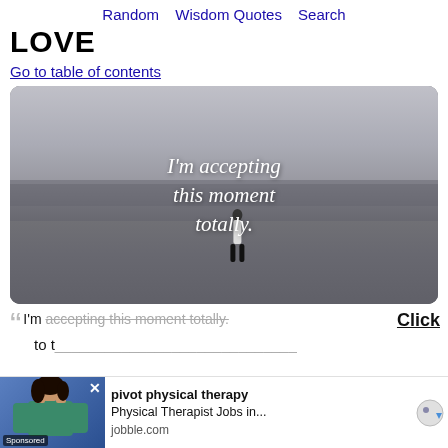Random   Wisdom Quotes   Search
LOVE
Go to table of contents
[Figure (photo): Black and white beach photo with a person standing at the water's edge. White handwritten-style text overlay reads: I'm accepting this moment totally.]
“I'm accepting this moment totally.
[Figure (photo): Advertisement banner: pivot physical therapy - Physical Therapist Jobs in... jobble.com. Sponsored. Shows a woman in medical scrubs.]